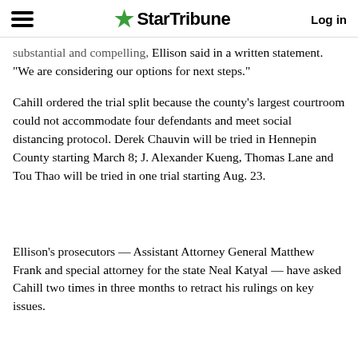StarTribune — Log in
substantial and compelling, Ellison said in a written statement. "We are considering our options for next steps."
Cahill ordered the trial split because the county's largest courtroom could not accommodate four defendants and meet social distancing protocol. Derek Chauvin will be tried in Hennepin County starting March 8; J. Alexander Kueng, Thomas Lane and Tou Thao will be tried in one trial starting Aug. 23.
Ellison's prosecutors — Assistant Attorney General Matthew Frank and special attorney for the state Neal Katyal — have asked Cahill two times in three months to retract his rulings on key issues.